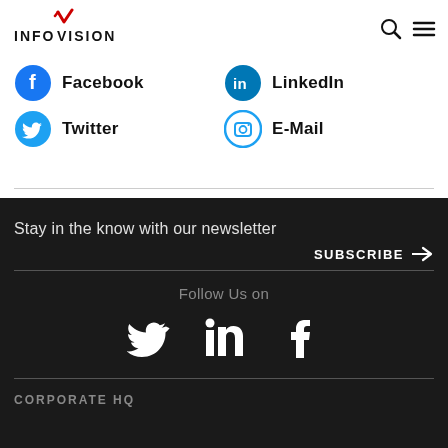[Figure (logo): InfoVision logo with red checkmark above the V]
Facebook
LinkedIn
Twitter
E-Mail
Stay in the know with our newsletter
SUBSCRIBE →
Follow Us on
[Figure (illustration): Twitter, LinkedIn, and Facebook social media icons in white on dark background]
CORPORATE HQ